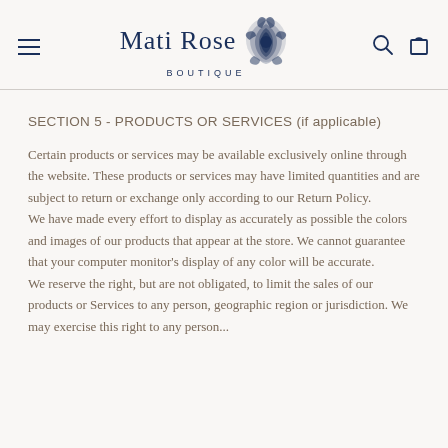Mati Rose Boutique
SECTION 5 - PRODUCTS OR SERVICES (if applicable)
Certain products or services may be available exclusively online through the website. These products or services may have limited quantities and are subject to return or exchange only according to our Return Policy.
We have made every effort to display as accurately as possible the colors and images of our products that appear at the store. We cannot guarantee that your computer monitor's display of any color will be accurate.
We reserve the right, but are not obligated, to limit the sales of our products or Services to any person, geographic region or jurisdiction. We may exercise this right to any person...